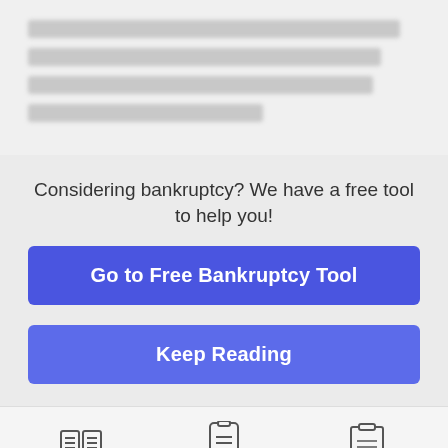[blurred body text — redacted content]
Considering bankruptcy? We have a free tool to help you!
Go to Free Bankruptcy Tool
Keep Reading
Free Articles   Bankruptcy Tool   Filing Guide